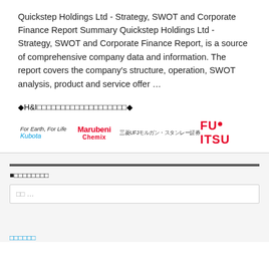Quickstep Holdings Ltd - Strategy, SWOT and Corporate Finance Report Summary Quickstep Holdings Ltd - Strategy, SWOT and Corporate Finance Report, is a source of comprehensive company data and information. The report covers the company's structure, operation, SWOT analysis, product and service offer …
◆H&I□□□□□□□□□□□□□□□□□□□◆
[Figure (logo): Row of company logos: Kubota (For Earth, For Life), Marubeni Chemix, 三菱UFJモルガン・スタンレー証券, Fujitsu]
■□□□□□□□□
□□ …
□□□□□□